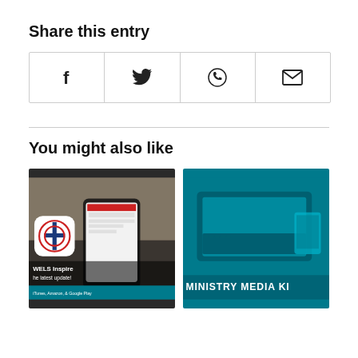Share this entry
[Figure (infographic): Four social share icon buttons in a row: Facebook (f), Twitter (bird), WhatsApp (phone), Email (envelope)]
You might also like
[Figure (photo): WELS Inspire app promotional image showing a smartphone with the WELS app open and the WELS cross logo, with text 'WELS Inspire' and 'the latest update!' and 'iTunes, Amazon, & Google Play']
[Figure (photo): Ministry Media Kit promotional image showing a laptop on a teal background with text 'MINISTRY MEDIA KI' (cropped)]